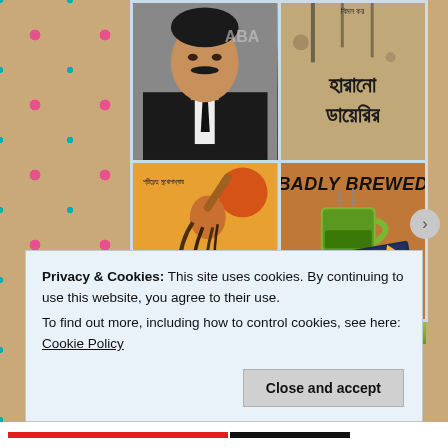[Figure (photo): Collage of images on a floral beige background: top-left is a photo of a South Asian man in a black suit with a mustache; top-right is a Bengali book cover with text 'বিমল কর হারানো ডায়েরির'; bottom-left is an illustrated book cover with Bengali text and an artistic figure; bottom-right is a book cover titled 'BADLY BREWED' showing a green mug, pen, and notebook. A partial green image strip is visible below the grid.]
Privacy & Cookies: This site uses cookies. By continuing to use this website, you agree to their use.
To find out more, including how to control cookies, see here: Cookie Policy
Close and accept